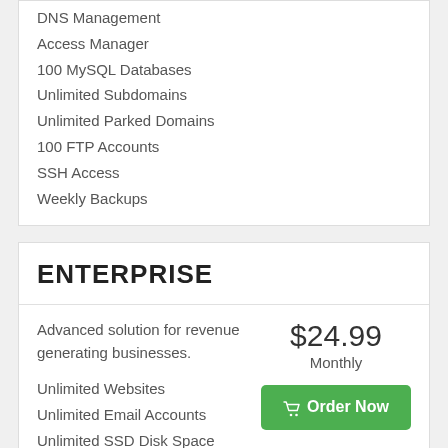DNS Management
Access Manager
100 MySQL Databases
Unlimited Subdomains
Unlimited Parked Domains
100 FTP Accounts
SSH Access
Weekly Backups
ENTERPRISE
Advanced solution for revenue generating businesses.
$24.99
Monthly
Unlimited Websites
Unlimited Email Accounts
Unlimited SSD Disk Space
Unlimited Bandwidth
Free SSL Certificate
Free Domain
LiteSpeed Cache
24/7/365 Support
99.9% Uptime Guarantee
1 Click WordPress Installer
Free CDN BETA
DNS Management